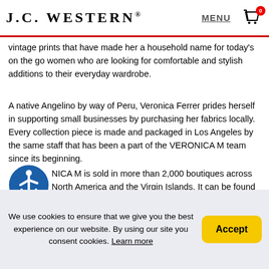J.C. WESTERN® MENU [cart: 0]
vintage prints that have made her a household name for today's on the go women who are looking for comfortable and stylish additions to their everyday wardrobe.
A native Angelino by way of Peru, Veronica Ferrer prides herself in supporting small businesses by purchasing her fabrics locally. Every collection piece is made and packaged in Los Angeles by the same staff that has been a part of the VERONICA M team since its beginning.
NICA M is sold in more than 2,000 boutiques across North America and the Virgin Islands. It can be found in cities like Los Angeles, New York, Chicago, Dallas, Miami and San Francisco.
RETURN & EXCHANGE POLICY
We use cookies to ensure that we give you the best experience on our website. By using our site you consent cookies. Learn more